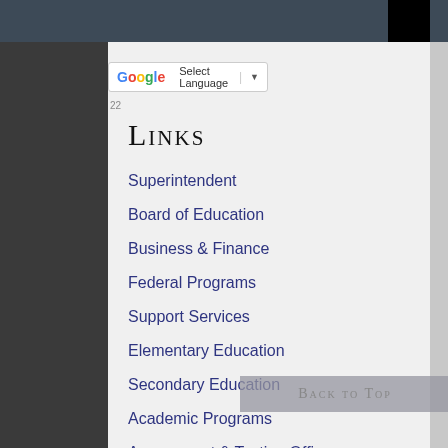[Figure (screenshot): Google Translate widget with 'Select Language' dropdown]
Links
Superintendent
Board of Education
Business & Finance
Federal Programs
Support Services
Elementary Education
Secondary Education
Academic Programs
Assessment & Testing Office
Athletics
Back to Top